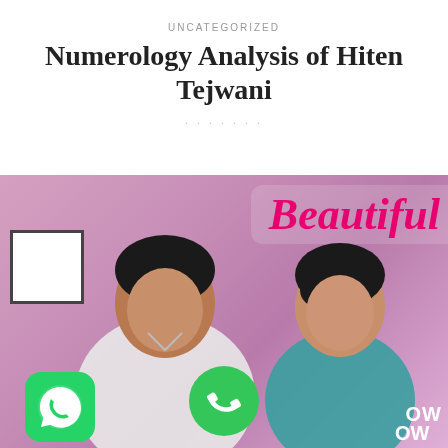UNCATEGORIZED
Numerology Analysis of Hiten Tejwani
[Figure (photo): Photo of two people (a man in white shirt and a woman in blue top) standing together at an event with a pink backdrop that reads 'Beautiful'. WhatsApp icon and phone call icon visible at the bottom. A white square outline is visible at the top left of the image.]